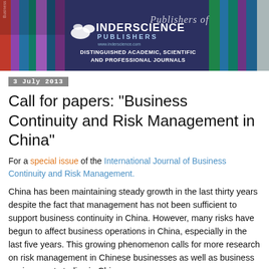[Figure (illustration): Inderscience Publishers banner with colorful book spines and logo. White bird/dove logo next to INDERSCIENCE PUBLISHERS text. Tagline: Distinguished Academic, Scientific and Professional Journals. Website: www.inderscience.com]
3 July 2013
Call for papers: "Business Continuity and Risk Management in China"
For a special issue of the International Journal of Business Continuity and Risk Management.
China has been maintaining steady growth in the last thirty years despite the fact that management has not been sufficient to support business continuity in China. However, many risks have begun to affect business operations in China, especially in the last five years. This growing phenomenon calls for more research on risk management in Chinese businesses as well as business environment studies in China.